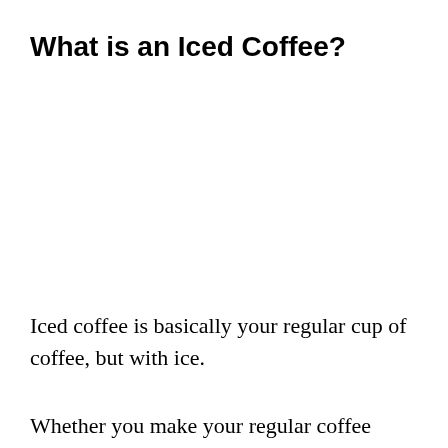What is an Iced Coffee?
Iced coffee is basically your regular cup of coffee, but with ice.
Whether you make your regular coffee